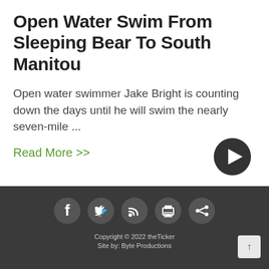Open Water Swim From Sleeping Bear To South Manitou
Open water swimmer Jake Bright is counting down the days until he will swim the nearly seven-mile ...
Read More >>
[Figure (other): Dark circular play button icon on white background]
[Figure (other): Social media icon row: Facebook, Twitter, RSS, Print, Share — white icons on dark circular backgrounds]
Copyright © 2022 theTicker
Site by: Byte Productions